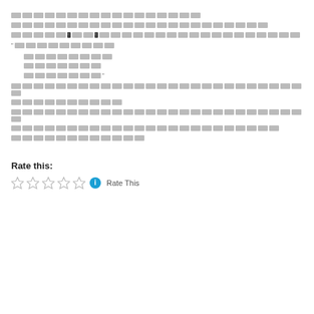[redacted text line 1]
[redacted text line 2]
[redacted text line 3 with quoted term]
[redacted quoted block opening]
[redacted list item 1]
[redacted list item 2]
[redacted list item 3 closing quote]
[redacted text paragraph with quoted term]
[redacted text paragraph 2]
[redacted text paragraph 3]
[redacted text line last]
Rate this:
[Figure (other): Star rating widget with 5 empty stars, info icon, and Rate This label]